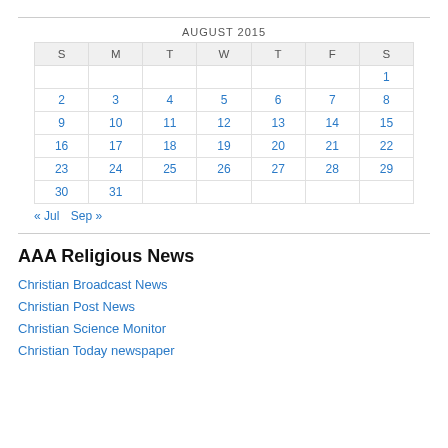| S | M | T | W | T | F | S |
| --- | --- | --- | --- | --- | --- | --- |
|  |  |  |  |  |  | 1 |
| 2 | 3 | 4 | 5 | 6 | 7 | 8 |
| 9 | 10 | 11 | 12 | 13 | 14 | 15 |
| 16 | 17 | 18 | 19 | 20 | 21 | 22 |
| 23 | 24 | 25 | 26 | 27 | 28 | 29 |
| 30 | 31 |  |  |  |  |  |
« Jul   Sep »
AAA Religious News
Christian Broadcast News
Christian Post News
Christian Science Monitor
Christian Today newspaper